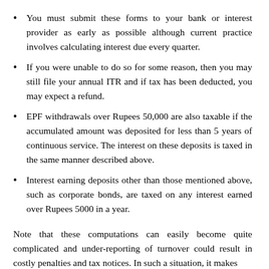You must submit these forms to your bank or interest provider as early as possible although current practice involves calculating interest due every quarter.
If you were unable to do so for some reason, then you may still file your annual ITR and if tax has been deducted, you may expect a refund.
EPF withdrawals over Rupees 50,000 are also taxable if the accumulated amount was deposited for less than 5 years of continuous service. The interest on these deposits is taxed in the same manner described above.
Interest earning deposits other than those mentioned above, such as corporate bonds, are taxed on any interest earned over Rupees 5000 in a year.
Note that these computations can easily become quite complicated and under-reporting of turnover could result in costly penalties and tax notices. In such a situation, it makes